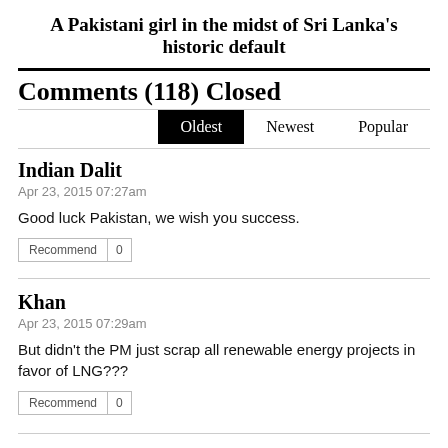A Pakistani girl in the midst of Sri Lanka's historic default
Comments (118) Closed
Oldest  Newest  Popular
Indian Dalit
Apr 23, 2015 07:27am
Good luck Pakistan, we wish you success.
Recommend  0
Khan
Apr 23, 2015 07:29am
But didn't the PM just scrap all renewable energy projects in favor of LNG???
Recommend  0